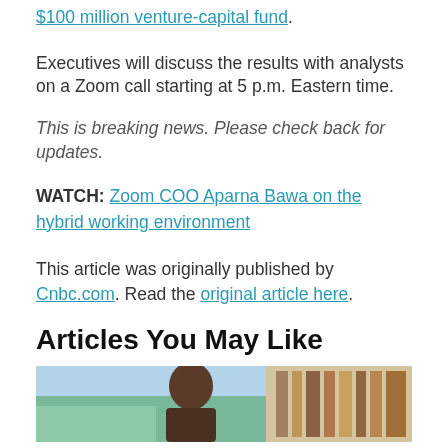$100 million venture-capital fund.
Executives will discuss the results with analysts on a Zoom call starting at 5 p.m. Eastern time.
This is breaking news. Please check back for updates.
WATCH: Zoom COO Aparna Bawa on the hybrid working environment
This article was originally published by Cnbc.com. Read the original article here.
Articles You May Like
[Figure (photo): Photograph of a person, partially visible, used as a thumbnail for a related article]